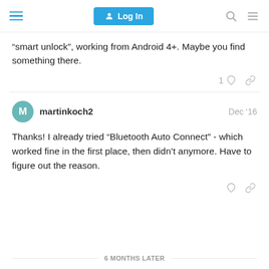Log In
“smart unlock”, working from Android 4+. Maybe you find something there.
martinkoch2  Dec ’16
Thanks! I already tried “Bluetooth Auto Connect” - which worked fine in the first place, then didn’t anymore. Have to figure out the reason.
6 MONTHS LATER